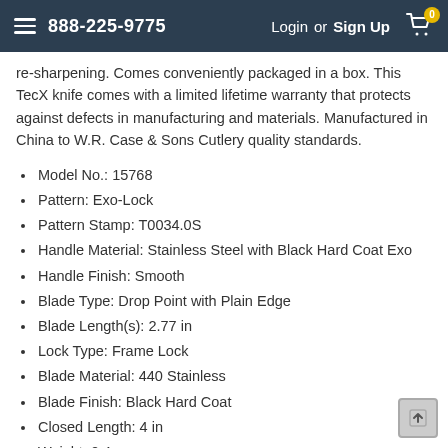888-225-9775   Login or Sign Up   0
re-sharpening. Comes conveniently packaged in a box. This TecX knife comes with a limited lifetime warranty that protects against defects in manufacturing and materials. Manufactured in China to W.R. Case & Sons Cutlery quality standards.
Model No.: 15768
Pattern: Exo-Lock
Pattern Stamp: T0034.0S
Handle Material: Stainless Steel with Black Hard Coat Exo
Handle Finish: Smooth
Blade Type: Drop Point with Plain Edge
Blade Length(s): 2.77 in
Lock Type: Frame Lock
Blade Material: 440 Stainless
Blade Finish: Black Hard Coat
Closed Length: 4 in
Weight: 0.4 oz
Sheath: Sold Separately
Origin: China